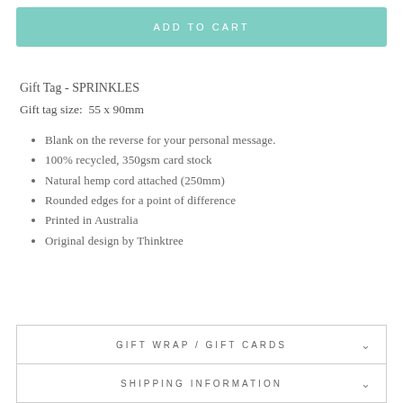ADD TO CART
Gift Tag - SPRINKLES
Gift tag size:  55 x 90mm
Blank on the reverse for your personal message.
100% recycled, 350gsm card stock
Natural hemp cord attached (250mm)
Rounded edges for a point of difference
Printed in Australia
Original design by Thinktree
GIFT WRAP / GIFT CARDS
SHIPPING INFORMATION